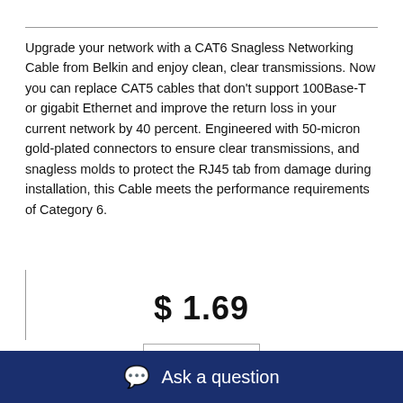Upgrade your network with a CAT6 Snagless Networking Cable from Belkin and enjoy clean, clear transmissions. Now you can replace CAT5 cables that don't support 100Base-T or gigabit Ethernet and improve the return loss in your current network by 40 percent. Engineered with 50-micron gold-plated connectors to ensure clear transmissions, and snagless molds to protect the RJ45 tab from damage during installation, this Cable meets the performance requirements of Category 6.
$ 1.69
Add
Ask a question